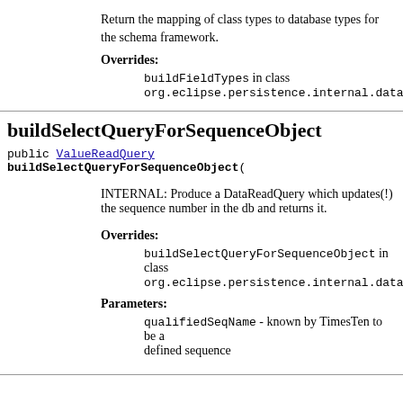Return the mapping of class types to database types for the schema framework.
Overrides: buildFieldTypes in class org.eclipse.persistence.internal.databaseacces
buildSelectQueryForSequenceObject
public ValueReadQuery buildSelectQueryForSequenceObject(
INTERNAL: Produce a DataReadQuery which updates(!) the sequence number in the db and returns it.
Overrides: buildSelectQueryForSequenceObject in class org.eclipse.persistence.internal.databaseacces
Parameters: qualifiedSeqName - known by TimesTen to be a defined sequence